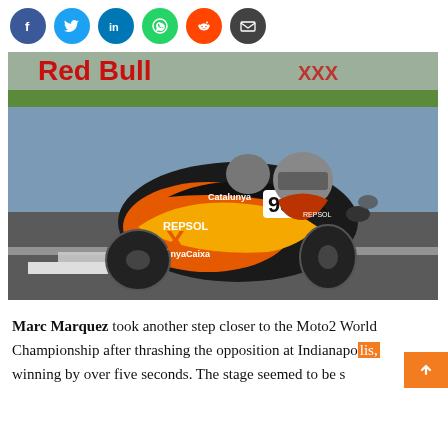[Figure (other): Row of social media share buttons: Facebook (blue), Twitter (light blue), LinkedIn (blue), WhatsApp (green), Reddit (orange-red), Email (dark gray)]
[Figure (photo): Marc Marquez racing on a Repsol / CatalunyaCaixa motorcycle number 93 at Indianapolis, leaning into a corner on a race track with Red Bull advertising banners in the background.]
Marc Marquez took another step closer to the Moto2 World Championship after thrashing the opposition at Indianapolis, winning by over five seconds. The stage seemed to be s